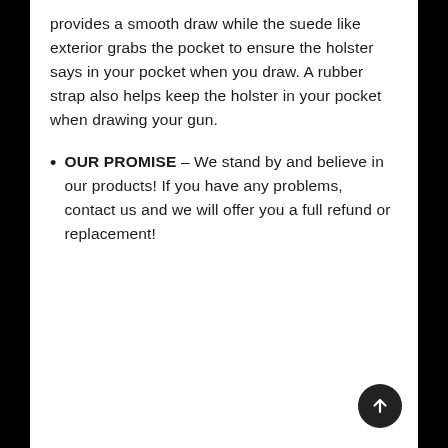provides a smooth draw while the suede like exterior grabs the pocket to ensure the holster says in your pocket when you draw. A rubber strap also helps keep the holster in your pocket when drawing your gun.
OUR PROMISE – We stand by and believe in our products! If you have any problems, contact us and we will offer you a full refund or replacement!